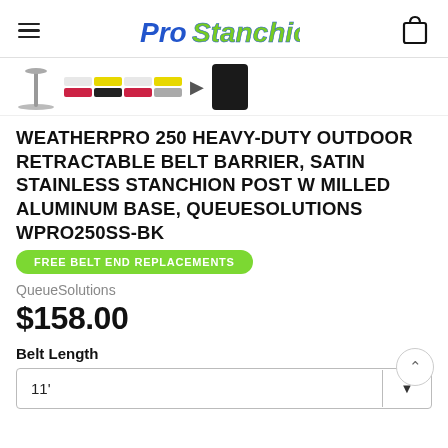Pro Stanchions
[Figure (screenshot): Product thumbnail images showing stanchion post, belt color swatches, and black post]
WEATHERPRO 250 HEAVY-DUTY OUTDOOR RETRACTABLE BELT BARRIER, SATIN STAINLESS STANCHION POST W MILLED ALUMINUM BASE, QUEUESOLUTIONS WPRO250SS-BK
FREE BELT END REPLACEMENTS
QueueSolutions
$158.00
Belt Length
11'